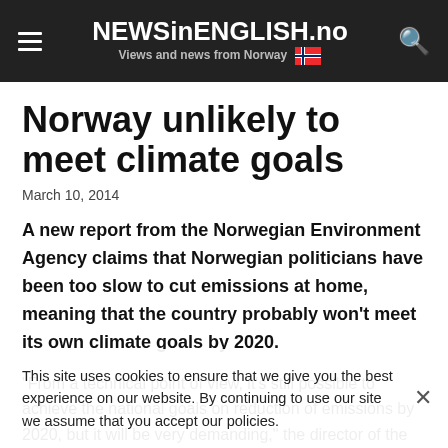NEWSinENGLISH.no — Views and news from Norway
Norway unlikely to meet climate goals
March 10, 2014
A new report from the Norwegian Environment Agency claims that Norwegian politicians have been too slow to cut emissions at home, meaning that the country probably won't meet its own climate goals by 2020.
"From a technical point of view, it's still possible to achieve the national goals on reduction of emissions by 2020, but it will be very demanding," the director of the state environmental agency (Miljødirektoratet) told newspaper VG. She said that in order the meet the goals, Norway must
This site uses cookies to ensure that we give you the best experience on our website. By continuing to use our site we assume that you accept our policies.